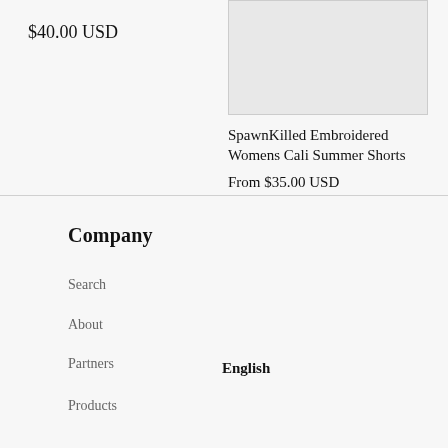$40.00 USD
[Figure (photo): Product image placeholder, light gray box]
SpawnKilled Embroidered Womens Cali Summer Shorts
From $35.00 USD
Company
Search
About
Partners
English
Products